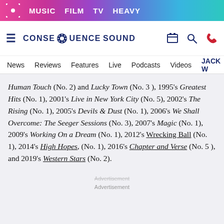MUSIC  FILM  TV  HEAVY
CONSEQUENCE SOUND — News  Reviews  Features  Live  Podcasts  Videos  JACK W...
Human Touch (No. 2) and Lucky Town (No. 3), 1995's Greatest Hits (No. 1), 2001's Live in New York City (No. 5), 2002's The Rising (No. 1), 2005's Devils & Dust (No. 1), 2006's We Shall Overcome: The Seeger Sessions (No. 3), 2007's Magic (No. 1), 2009's Working On a Dream (No. 1), 2012's Wrecking Ball (No. 1), 2014's High Hopes, (No. 1), 2016's Chapter and Verse (No. 5), and 2019's Western Stars (No. 2).
Advertisement
Advertisement